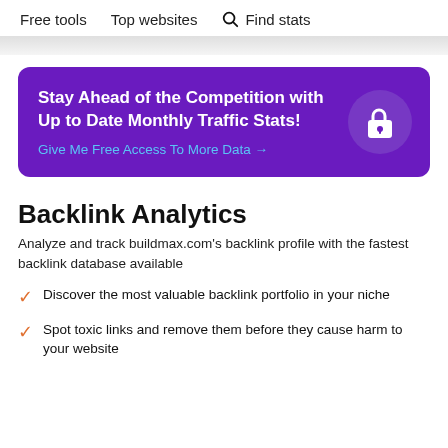Free tools   Top websites   Find stats
[Figure (infographic): Purple promotional banner with lock icon: 'Stay Ahead of the Competition with Up to Date Monthly Traffic Stats! Give Me Free Access To More Data →']
Backlink Analytics
Analyze and track buildmax.com's backlink profile with the fastest backlink database available
Discover the most valuable backlink portfolio in your niche
Spot toxic links and remove them before they cause harm to your website